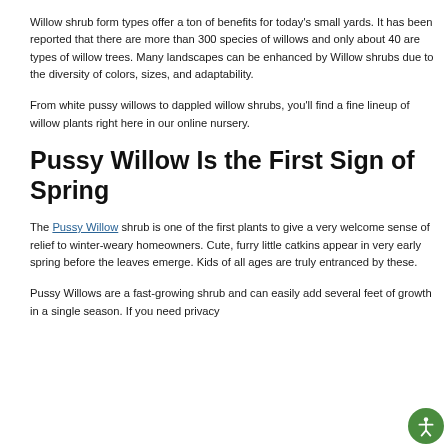Willow shrub form types offer a ton of benefits for today's small yards. It has been reported that there are more than 300 species of willows and only about 40 are types of willow trees. Many landscapes can be enhanced by Willow shrubs due to the diversity of colors, sizes, and adaptability.
From white pussy willows to dappled willow shrubs, you'll find a fine lineup of willow plants right here in our online nursery.
Pussy Willow Is the First Sign of Spring
The Pussy Willow shrub is one of the first plants to give a very welcome sense of relief to winter-weary homeowners. Cute, furry little catkins appear in very early spring before the leaves emerge. Kids of all ages are truly entranced by these.
Pussy Willows are a fast-growing shrub and can easily add several feet of growth in a single season. If you need privacy...